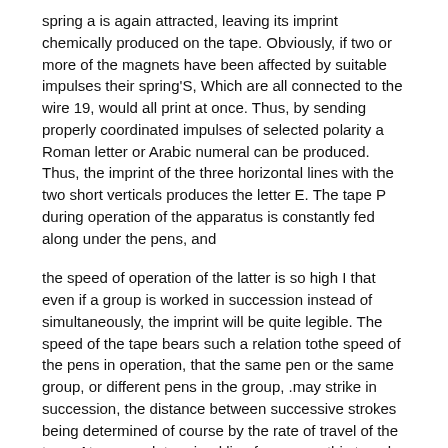spring a is again attracted, leaving its imprint chemically produced on the tape. Obviously, if two or more of the magnets have been affected by suitable impulses their spring'S, Which are all connected to the wire 19, would all print at once. Thus, by sending properly coordinated impulses of selected polarity a Roman letter or Arabic numeral can be produced. Thus, the imprint of the three horizontal lines with the two short verticals produces the letter E. The tape P during operation of the apparatus is constantly fed along under the pens, and
the speed of operation of the latter is so high I that even if a group is worked in succession instead of simultaneously, the imprint will be quite legible. The speed of the tape bears such a relation tothe speed of the pens in operation, that the same pen or the same group, or different pens in the group, .may strike in succession, the distance between successive strokes being determined of course by the rate of travel of the tape. At any predetermined line frequency, this travel of the tape can be determined so as to produce very accurate imprints. The springs a are very small and light, and the highest speed desired can be attained by decreasing their length and